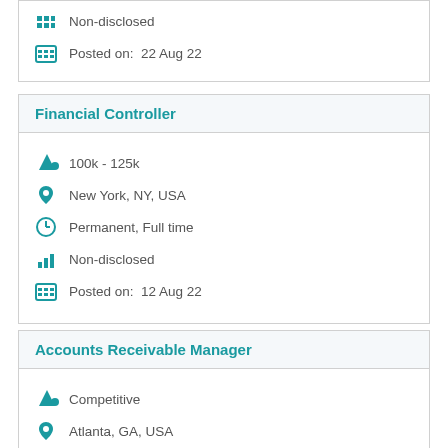Non-disclosed
Posted on:  22 Aug 22
Financial Controller
100k - 125k
New York, NY, USA
Permanent, Full time
Non-disclosed
Posted on:  12 Aug 22
Accounts Receivable Manager
Competitive
Atlanta, GA, USA
Permanent, Full time
Non-disclosed